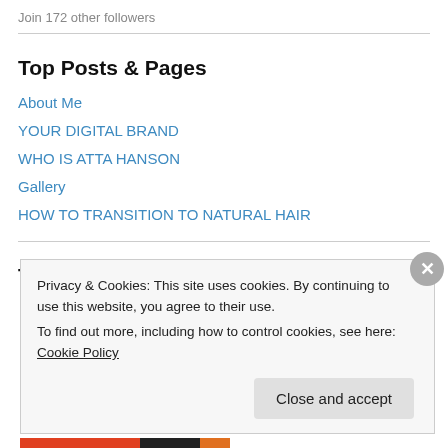Join 172 other followers
Top Posts & Pages
About Me
YOUR DIGITAL BRAND
WHO IS ATTA HANSON
Gallery
HOW TO TRANSITION TO NATURAL HAIR
Top Rated
Privacy & Cookies: This site uses cookies. By continuing to use this website, you agree to their use.
To find out more, including how to control cookies, see here: Cookie Policy
Close and accept